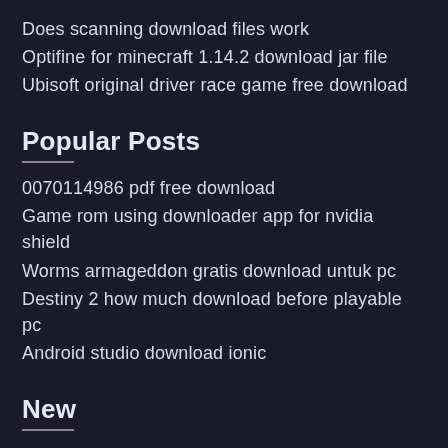Does scanning download files work
Optifine for minecraft 1.14.2 download jar file
Ubisoft original driver race game free download
Popular Posts
0070114986 pdf free download
Game rom using downloader app for nvidia shield
Worms armageddon gratis download untuk pc
Destiny 2 how much download before playable pc
Android studio download ionic
New
Jewish study bible pdf free download
Bangla detective golpo pdf free download